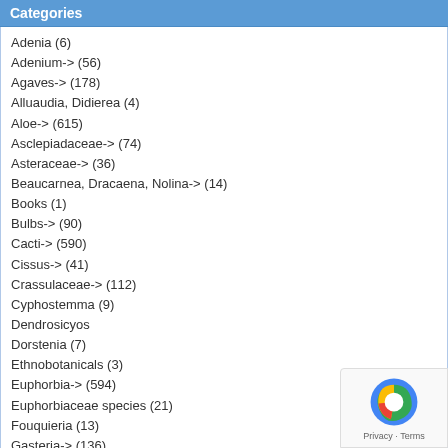Categories
Adenia (6)
Adenium-> (56)
Agaves-> (178)
Alluaudia, Didierea (4)
Aloe-> (615)
Asclepiadaceae-> (74)
Asteraceae-> (36)
Beaucarnea, Dracaena, Nolina-> (14)
Books (1)
Bulbs-> (90)
Cacti-> (590)
Cissus-> (41)
Crassulaceae-> (112)
Cyphostemma (9)
Dendrosicyos
Dorstenia (7)
Ethnobotanicals (3)
Euphorbia-> (594)
Euphorbiaceae species (21)
Fouquieria (13)
Gasteria-> (136)
Geophytes-> (45)
Gift certificates (6)
Haworthia-> (242)
Astroloba (6)
Cultivars (21)